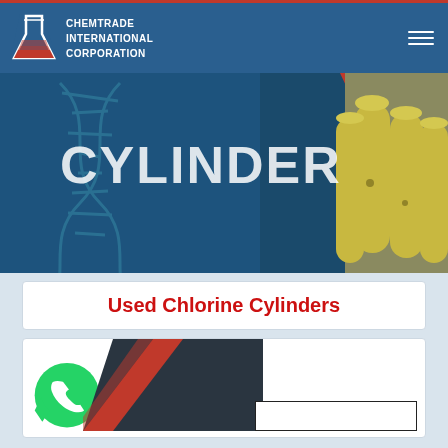[Figure (logo): Chemtrade International Corporation logo with flask icon and company name in white text on blue navbar]
[Figure (photo): Banner image showing 'CYLINDER' text over teal/dark background with DNA helix graphic on left and yellow chlorine cylinders on right]
Used Chlorine Cylinders
[Figure (illustration): WhatsApp green phone icon and diagonal dark/red graphic with a form input stub on the right side]